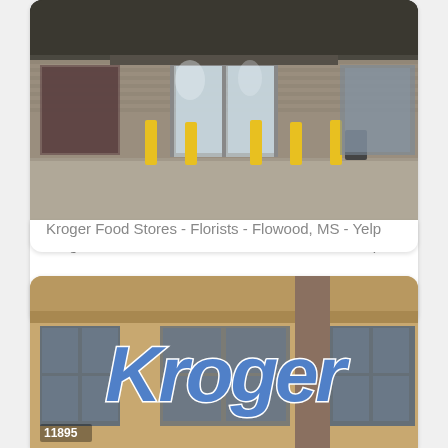[Figure (photo): Exterior night photo of a Kroger food store entrance with glass doors, yellow bollards, and parking area]
Kroger Food Stores - Florists - Flowood, MS - Yelp
[Figure (photo): Exterior daytime photo of a Kroger store showing the Kroger logo sign in blue lettering on a tan/brown building facade, with address number 11895]